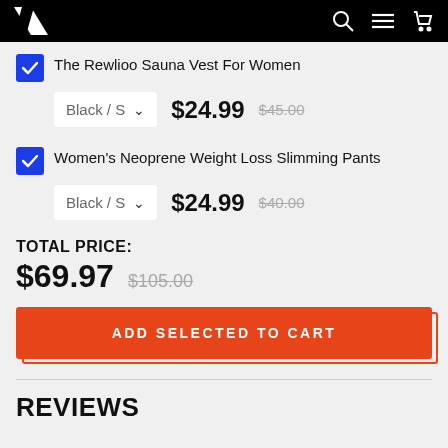Navigation bar with logo and icons
The Rewlioo Sauna Vest For Women
Black / S  $24.99  $45.00
Women's Neoprene Weight Loss Slimming Pants
Black / S  $24.99  $40.00
TOTAL PRICE:
$69.97  $105.00
ADD SELECTED TO CART
REVIEWS